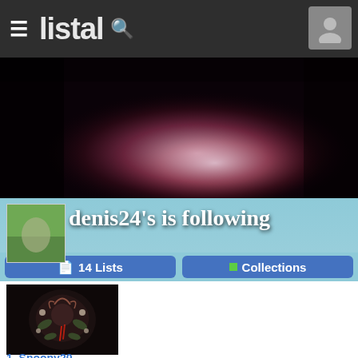listal
[Figure (photo): Banner background: dark nebula-like image with purple and red tones, glowing center area]
[Figure (photo): Profile avatar thumbnail: outdoor scene with tree/animal silhouette]
denis24's is following
14 Lists
Collections
[Figure (photo): User avatar: dark decorative illustration with floral/creature motif]
1. Snoopy20
ars ago
as